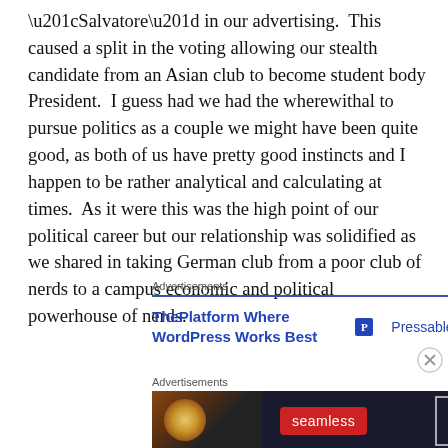“Salvatore” in our advertising.  This caused a split in the voting allowing our stealth candidate from an Asian club to become student body President.  I guess had we had the wherewithal to pursue politics as a couple we might have been quite good, as both of us have pretty good instincts and I happen to be rather analytical and calculating at times.  As it were this was the high point of our political career but our relationship was solidified as we shared in taking German club from a poor club of nerds to a campus economic and political powerhouse of nerds.
[Figure (other): Advertisement: ThePlatform Where WordPress Works Best — Pressable logo]
[Figure (other): Advertisement: Seamless food delivery — ORDER NOW banner with pizza image]